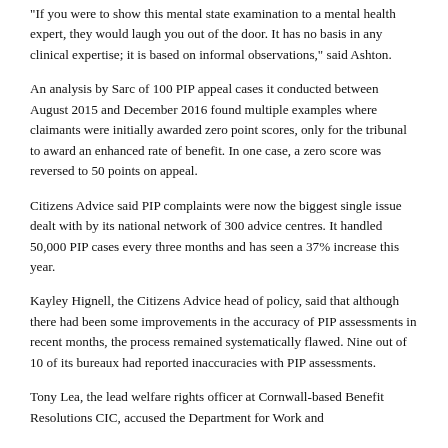“If you were to show this mental state examination to a mental health expert, they would laugh you out of the door. It has no basis in any clinical expertise; it is based on informal observations,” said Ashton.
An analysis by Sarc of 100 PIP appeal cases it conducted between August 2015 and December 2016 found multiple examples where claimants were initially awarded zero point scores, only for the tribunal to award an enhanced rate of benefit. In one case, a zero score was reversed to 50 points on appeal.
Citizens Advice said PIP complaints were now the biggest single issue dealt with by its national network of 300 advice centres. It handled 50,000 PIP cases every three months and has seen a 37% increase this year.
Kayley Hignell, the Citizens Advice head of policy, said that although there had been some improvements in the accuracy of PIP assessments in recent months, the process remained systematically flawed. Nine out of 10 of its bureaux had reported inaccuracies with PIP assessments.
Tony Lea, the lead welfare rights officer at Cornwall-based Benefit Resolutions CIC, accused the Department for Work and